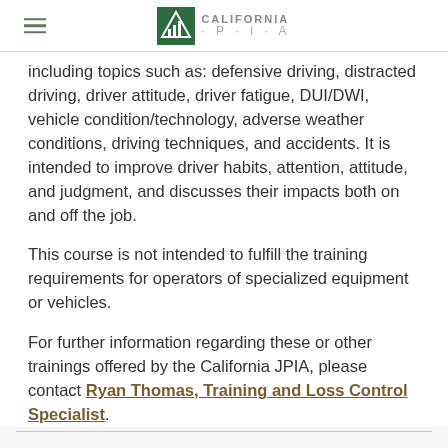CALIFORNIA J·P·I·A
including topics such as: defensive driving, distracted driving, driver attitude, driver fatigue, DUI/DWI, vehicle condition/technology, adverse weather conditions, driving techniques, and accidents. It is intended to improve driver habits, attention, attitude, and judgment, and discusses their impacts both on and off the job.
This course is not intended to fulfill the training requirements for operators of specialized equipment or vehicles.
For further information regarding these or other trainings offered by the California JPIA, please contact Ryan Thomas, Training and Loss Control Specialist.